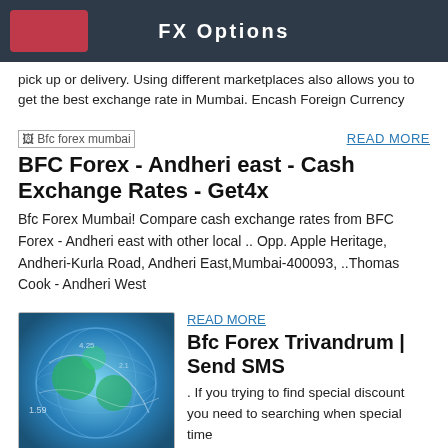FX Options
pick up or delivery. Using different marketplaces also allows you to get the best exchange rate in Mumbai. Encash Foreign Currency
[Figure (other): Broken image placeholder labeled 'Bfc forex mumbai']
READ MORE
BFC Forex - Andheri east - Cash Exchange Rates - Get4x
Bfc Forex Mumbai! Compare cash exchange rates from BFC Forex - Andheri east with other local .. Opp. Apple Heritage, Andheri-Kurla Road, Andheri East,Mumbai-400093, ..Thomas Cook - Andheri West
[Figure (illustration): Colorful abstract map/globe illustration with blue green tones]
READ MORE
Bfc Forex Trivandrum | Send SMS
. If you trying to find special discount you need to searching when special time come or holidays. Typing your keyword including Reviews : Best